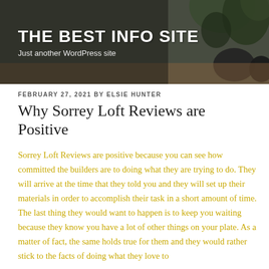THE BEST INFO SITE
Just another WordPress site
FEBRUARY 27, 2021 BY ELSIE HUNTER
Why Sorrey Loft Reviews are Positive
Sorrey Loft Reviews are positive because you can see how committed the builders are to doing what they are trying to do. They will arrive at the time that they told you and they will set up their materials in order to accomplish their task in a short amount of time. The last thing they would want to happen is to keep you waiting because they know you have a lot of other things on your plate. As a matter of fact, the same holds true for them and they would rather stick to the facts of doing what they love to